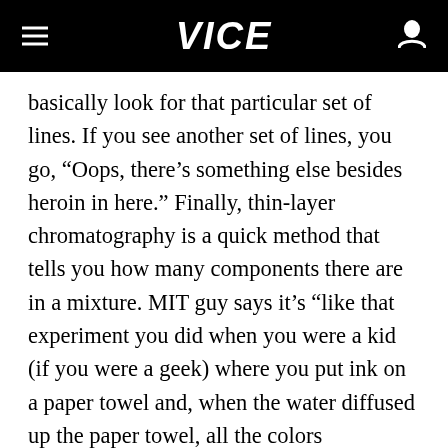VICE
basically look for that particular set of lines. If you see another set of lines, you go, “Oops, there’s something else besides heroin in here.” Finally, thin-layer chromatography is a quick method that tells you how many components there are in a mixture. MIT guy says it’s “like that experiment you did when you were a kid (if you were a geek) where you put ink on a paper towel and, when the water diffused up the paper towel, all the colors separated.” It tells you how many components are in a mixture but not what they are. That’s what the NMR is for. Still confused? Show this to a smart guy and